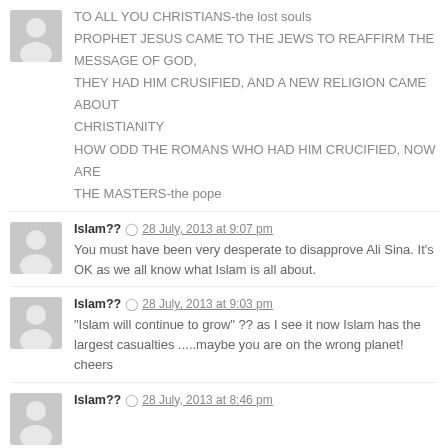TO ALL YOU CHRISTIANS-the lost souls
PROPHET JESUS CAME TO THE JEWS TO REAFFIRM THE MESSAGE OF GOD,
THEY HAD HIM CRUSIFIED, AND A NEW RELIGION CAME ABOUT CHRISTIANITY
HOW ODD THE ROMANS WHO HAD HIM CRUCIFIED, NOW ARE THE MASTERS-the pope
Islam?? 28 July, 2013 at 9:07 pm
You must have been very desperate to disapprove Ali Sina. It's OK as we all know what Islam is all about.
Islam?? 28 July, 2013 at 9:03 pm
"Islam will continue to grow" ?? as I see it now Islam has the largest casualties .....maybe you are on the wrong planet! cheers
Islam?? 28 July, 2013 at 8:46 pm